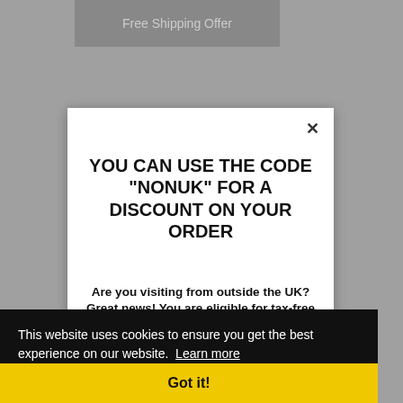Free Shipping Offer
YOU CAN USE THE CODE "NONUK" FOR A DISCOUNT ON YOUR ORDER
Are you visiting from outside the UK? Great news! You are eligible for tax-free shopping
For more information regarding pricing and
This website uses cookies to ensure you get the best experience on our website. Learn more
Got it!